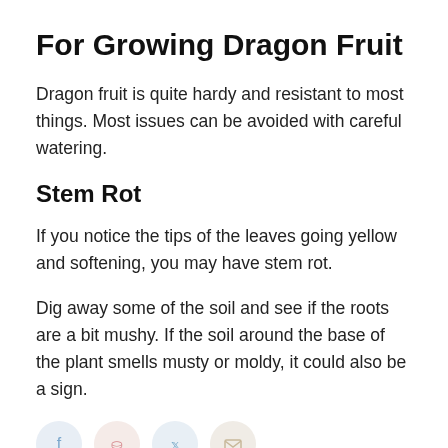For Growing Dragon Fruit
Dragon fruit is quite hardy and resistant to most things. Most issues can be avoided with careful watering.
Stem Rot
If you notice the tips of the leaves going yellow and softening, you may have stem rot.
Dig away some of the soil and see if the roots are a bit mushy. If the soil around the base of the plant smells musty or moldy, it could also be a sign.
[Figure (infographic): Social share icons: Facebook (blue circle), Pinterest (red circle), Twitter (blue circle), Email (beige circle)]
Remove any plant with stem rot and burn the